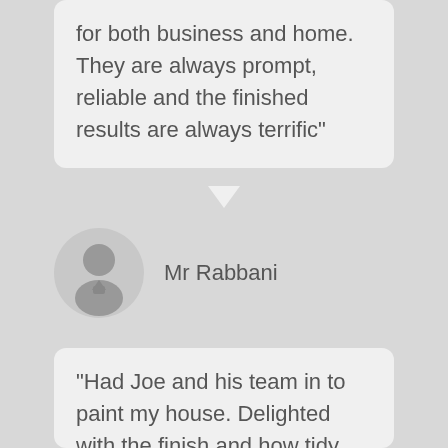for both business and home. They are always prompt, reliable and the finished results are always terrific"
Mr Rabbani
"Had Joe and his team in to paint my house. Delighted with the finish and how tidy they left the